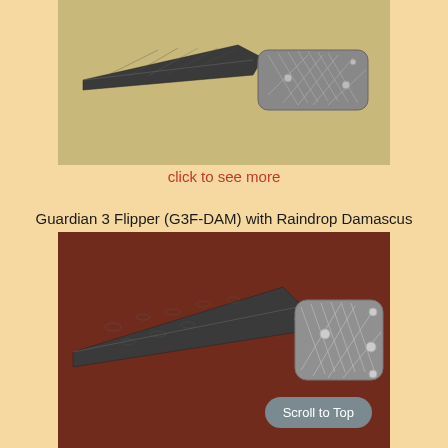[Figure (photo): Close-up photo of a folding knife with a dark damascus-patterned blade and gray crosshatch-patterned handle, photographed against a tan/yellow background.]
click to see more
Guardian 3 Flipper (G3F-DAM) with Raindrop Damascus
[Figure (photo): Photo of a Guardian 3 Flipper folding knife with raindrop Damascus blade and crosshatch-pattern gray handle, placed on a dark reddish-brown surface. A 'Scroll to Top' button is overlaid in the bottom right corner.]